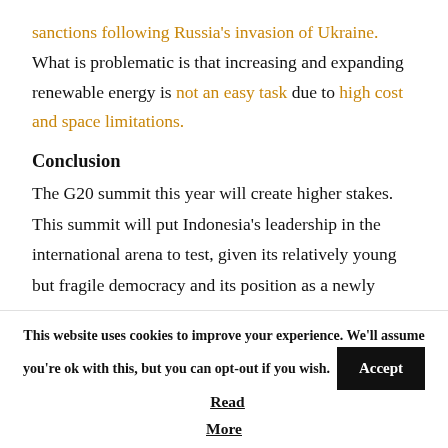sanctions following Russia's invasion of Ukraine. What is problematic is that increasing and expanding renewable energy is not an easy task due to high cost and space limitations.
Conclusion
The G20 summit this year will create higher stakes. This summit will put Indonesia's leadership in the international arena to test, given its relatively young but fragile democracy and its position as a newly industrialised country in the developing world. The world is on its recovery from the
This website uses cookies to improve your experience. We'll assume you're ok with this, but you can opt-out if you wish. Accept Read More